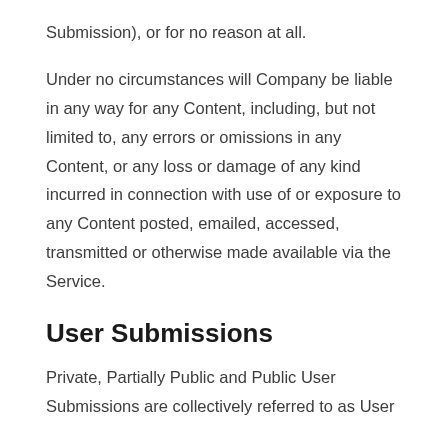Submission), or for no reason at all.
Under no circumstances will Company be liable in any way for any Content, including, but not limited to, any errors or omissions in any Content, or any loss or damage of any kind incurred in connection with use of or exposure to any Content posted, emailed, accessed, transmitted or otherwise made available via the Service.
User Submissions
Private, Partially Public and Public User Submissions are collectively referred to as User